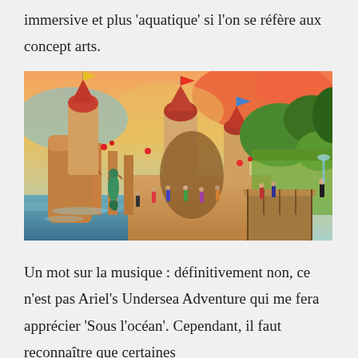immersive et plus 'aquatique' si l'on se réfère aux concept arts.
[Figure (illustration): Concept art illustration of a Disney theme park area with castle towers, arched colonnades, a mermaid statue by the water, colorful flags, lush vegetation, and visitors walking around a festive, tropical-themed environment.]
Un mot sur la musique : définitivement non, ce n'est pas Ariel's Undersea Adventure qui me fera apprécier 'Sous l'océan'. Cependant, il faut reconnaître que certaines